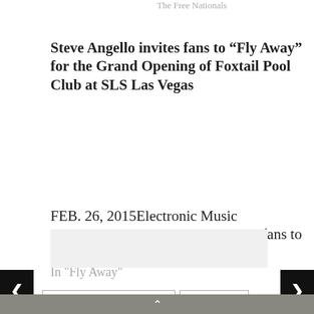The Free Nationals
Steve Angello invites fans to “Fly Away” for the Grand Opening of Foxtail Pool Club at SLS Las Vegas
FEB. 26, 2015Electronic Music Heavyweight Steve Angello invites fans to ‘Fly Away’ with him to the grand
February 26, 2015
In "Fly Away"
BED HEAD HOTEL: MIAMI 2013
coachella 2013
COACHELLA DAYTIME POOL PARTY
LIQUIPEL
Peerless Entertainment